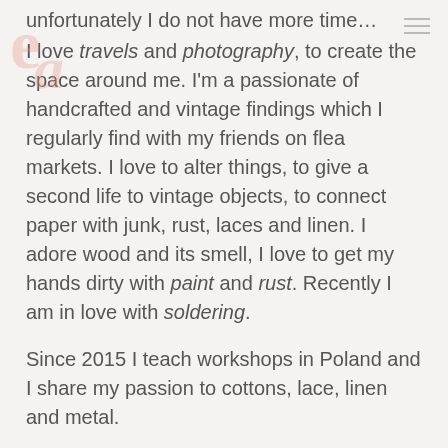[Figure (logo): Decorative logo with letters 'e' and 'a' in salmon/coral color, semi-transparent, top left corner]
unfortunately I do not have more time… I love travels and photography, to create the space around me. I'm a passionate of handcrafted and vintage findings which I regularly find with my friends on flea markets. I love to alter things, to give a second life to vintage objects, to connect paper with junk, rust, laces and linen. I adore wood and its smell, I love to get my hands dirty with paint and rust. Recently I am in love with soldering.
Since 2015 I teach workshops in Poland and I share my passion to cottons, lace, linen and metal.
My art motto is: "Creativity is